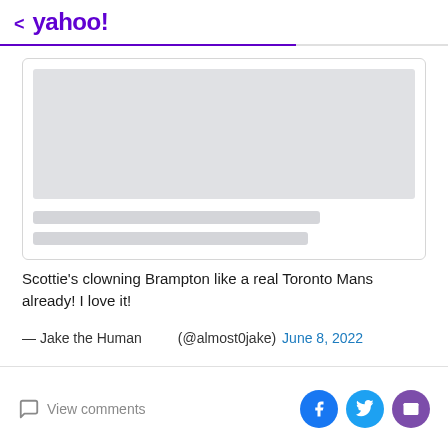< yahoo!
[Figure (screenshot): Embedded card placeholder with a grey image block and two grey text placeholder lines below it]
Scottie's clowning Brampton like a real Toronto Mans already! I love it!
— Jake the Human   (@almost0jake) June 8, 2022
View comments